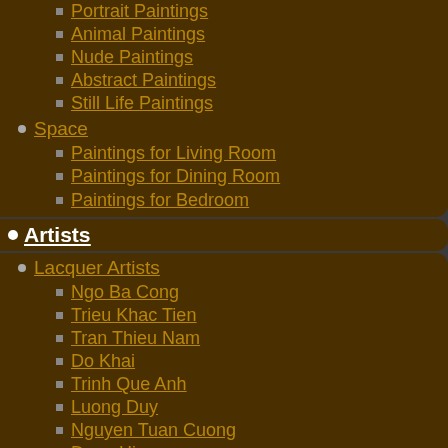Portrait Paintings
Animal Paintings
Nude Paintings
Abstract Paintings
Still Life Paintings
Space
Paintings for Living Room
Paintings for Dining Room
Paintings for Bedroom
Artists
Lacquer Artists
Ngo Ba Cong
Trieu Khac Tien
Tran Thieu Nam
Do Khai
Trinh Que Anh
Luong Duy
Nguyen Tuan Cuong
Dang Hien
Tran Tien Thanh
Nguyen Hong Giang
Nguyen Duc Huy
Nguyen Van Nghia
Lacquer Artists
Ton That Minh Nhat